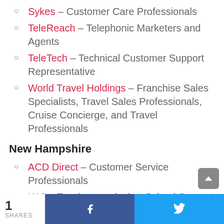Sykes – Customer Care Professionals
TeleReach – Telephonic Marketers and Agents
TeleTech – Technical Customer Support Representative
World Travel Holdings – Franchise Sales Specialists, Travel Sales Professionals, Cruise Concierge, and Travel Professionals
New Hampshire
ACD Direct – Customer Service Professionals
K12 – Teachers and other School Support Positions
Salesforce – Software Engineers, Account
1 SHARES